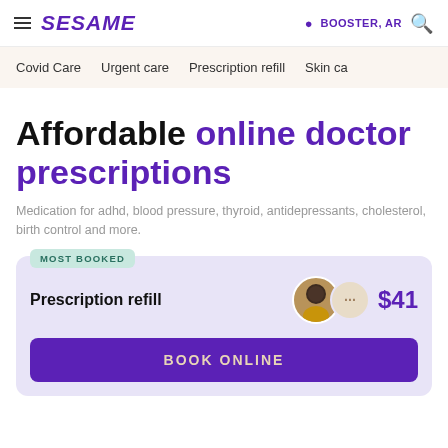SESAME | BOOSTER, AR
Covid Care
Urgent care
Prescription refill
Skin ca...
Affordable online doctor prescriptions
Medication for adhd, blood pressure, thyroid, antidepressants, cholesterol, birth control and more.
MOST BOOKED
Prescription refill  $41
BOOK ONLINE